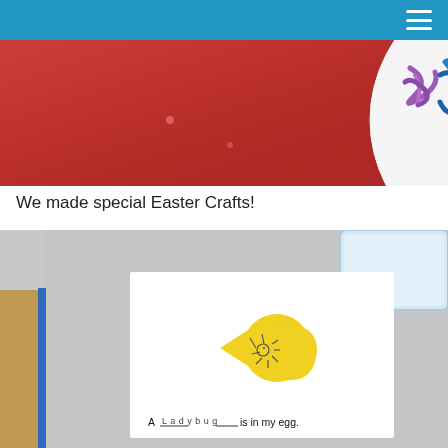[Figure (photo): Partial view of a red table surface with a white paper plate showing colorful crayon drawings (purple and blue marks), photographed from above.]
We made special Easter Crafts!
[Figure (photo): A child's Easter craft on a white sheet of paper: two yellow paper pieces shaped like a cracked egg shell, with a small hand-drawn ladybug between them, and printed text at the bottom reading 'A ___Ladybug___ is in my egg.' The paper is on a gray desk surface with a blue book edge visible on the left and a plastic tray in the upper right.]